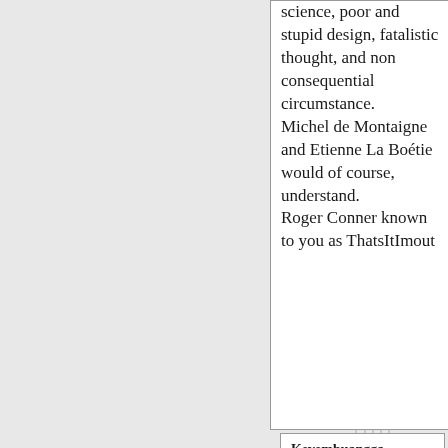science, poor and stupid design, fatalistic thought, and non consequential circumstance.

Michel de Montaigne and Etienne La Boétie would of course, understand.

Roger Conner known to you as ThatsItImout
Kevembuangga on July 29, 2006 - 6:24am Permalink | Parent | Commentton